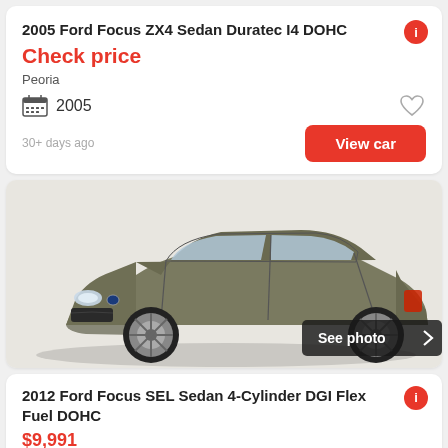2005 Ford Focus ZX4 Sedan Duratec I4 DOHC
Check price
Peoria
2005
30+ days ago
[Figure (photo): Olive/bronze Ford Focus SEL sedan photographed from a 3/4 front angle on a white background]
2012 Ford Focus SEL Sedan 4-Cylinder DGI Flex Fuel DOHC
$9,991